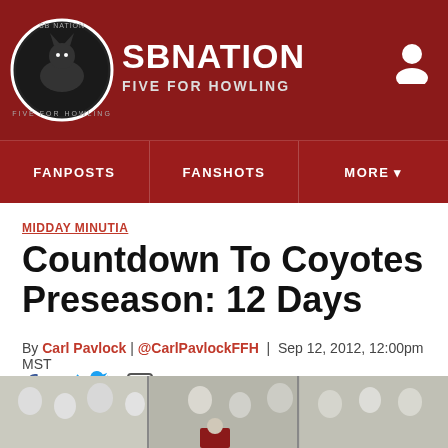SB NATION / FIVE FOR HOWLING
MIDDAY MINUTIA
Countdown To Coyotes Preseason: 12 Days
By Carl Pavlock | @CarlPavlockFFH | Sep 12, 2012, 12:00pm MST
[Figure (screenshot): Hockey crowd scene at bottom of page]
[Figure (logo): SB Nation Five For Howling logo circle with coyote]